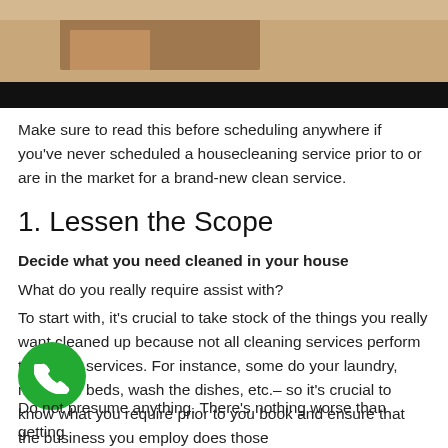[Figure (photo): Top portion of a photo showing a person cleaning or working indoors, with a dark banner overlay at the bottom of the image.]
Make sure to read this before scheduling anywhere if you've never scheduled a housecleaning service prior to or are in the market for a brand-new clean service.
1. Lessen the Scope
Decide what you need cleaned in your house
What do you really require assist with?
To start with, it's crucial to take stock of the things you really want cleaned up because not all cleaning services perform the same services. For instance, some do your laundry, make the beds, wash the dishes, etc.– so it's crucial to know what you require prior to you book and ensure that the business you employ does those
[Figure (other): Green circular phone/call button icon]
Do not presume anything. There's nothing worse than getting